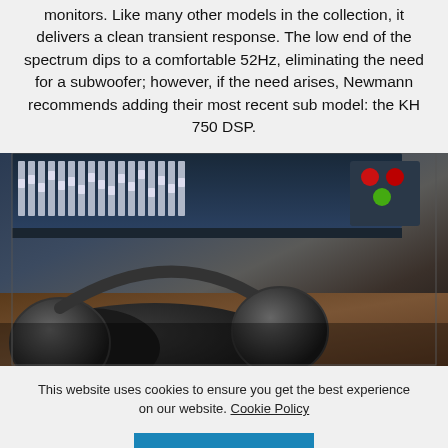monitors. Like many other models in the collection, it delivers a clean transient response. The low end of the spectrum dips to a comfortable 52Hz, eliminating the need for a subwoofer; however, if the need arises, Newmann recommends adding their most recent sub model: the KH 750 DSP.
[Figure (photo): Studio recording equipment: mixing console with faders in the background, a control surface with red and green buttons to the right, and headphones in the foreground on a wooden desk]
This website uses cookies to ensure you get the best experience on our website. Cookie Policy
ACCEPT